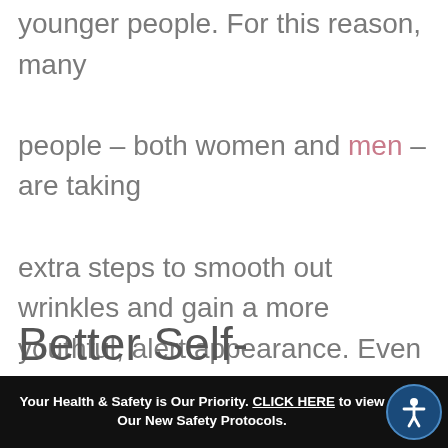younger people. For this reason, many people – both women and men –are taking extra steps to smooth out wrinkles and gain a more youthful, alert appearance. Even people as young as their 20s who are just out of college are using plastic surgery to make themselves more attractive for job interviews.
Better Self-
Your Health & Safety is Our Priority. CLICK HERE to view Our New Safety Protocols.